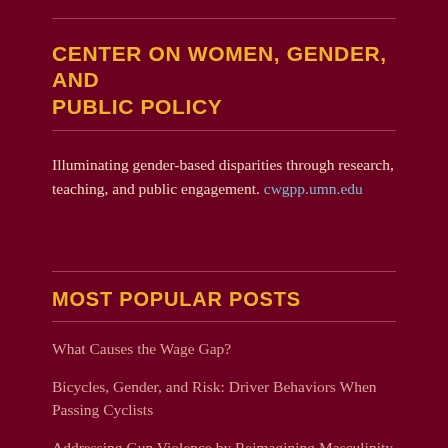CENTER ON WOMEN, GENDER, AND PUBLIC POLICY
Illuminating gender-based disparities through research, teaching, and public engagement. cwgpp.umn.edu
MOST POPULAR POSTS
What Causes the Wage Gap?
Bicycles, Gender, and Risk: Driver Behaviors When Passing Cyclists
Addressing Gun Violence by Reimagining Masculinity and Protection